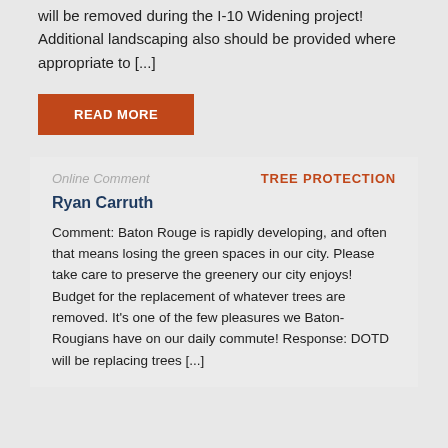will be removed during the I-10 Widening project! Additional landscaping also should be provided where appropriate to [...]
READ MORE
Online Comment
TREE PROTECTION
Ryan Carruth
Comment: Baton Rouge is rapidly developing, and often that means losing the green spaces in our city. Please take care to preserve the greenery our city enjoys! Budget for the replacement of whatever trees are removed. It's one of the few pleasures we Baton-Rougians have on our daily commute! Response: DOTD will be replacing trees [...]